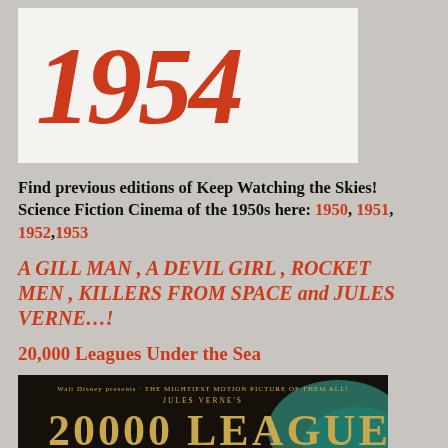[Figure (logo): Stylized red/orange text logo reading '1954' on a white/cream background, bold italic retro design]
Find previous editions of Keep Watching the Skies! Science Fiction Cinema of the 1950s here: 1950, 1951, 1952, 1953
A GILL MAN , A DEVIL GIRL , ROCKET MEN , KILLERS FROM SPACE and JULES VERNE…!
20,000 Leagues Under the Sea
[Figure (photo): Movie poster for Jules Verne's 20,000 Leagues Under the Sea (Walt Disney), dark background with golden title text and teal decorative element]